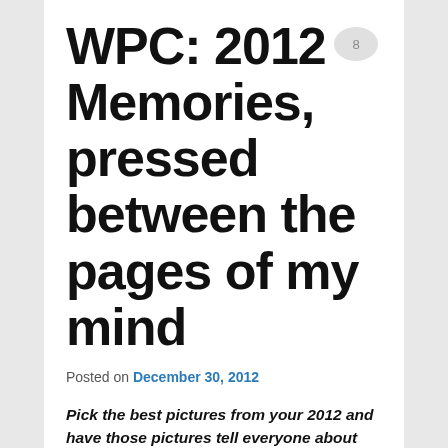WPC: 2012 Memories, pressed between the pages of my mind
[Figure (illustration): Speech bubble / comment icon with number 8 inside, positioned top right near title]
Posted on December 30, 2012
Pick the best pictures from your 2012 and have those pictures tell everyone about your year
Memories, pressed between the pages of my mind.
These are what matters to me in 2012. From life to